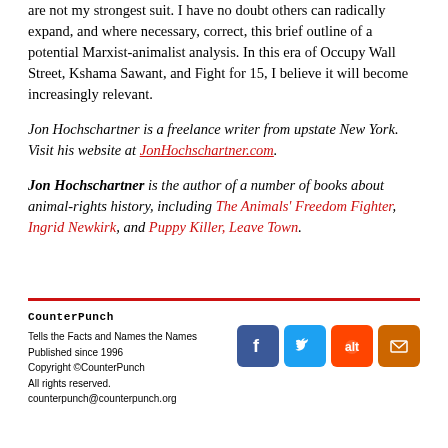are not my strongest suit. I have no doubt others can radically expand, and where necessary, correct, this brief outline of a potential Marxist-animalist analysis. In this era of Occupy Wall Street, Kshama Sawant, and Fight for 15, I believe it will become increasingly relevant.
Jon Hochschartner is a freelance writer from upstate New York. Visit his website at JonHochschartner.com.
Jon Hochschartner is the author of a number of books about animal-rights history, including The Animals' Freedom Fighter, Ingrid Newkirk, and Puppy Killer, Leave Town.
CounterPunch
Tells the Facts and Names the Names
Published since 1996
Copyright © CounterPunch
All rights reserved.
counterpunch@counterpunch.org